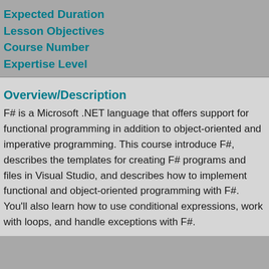Expected Duration
Lesson Objectives
Course Number
Expertise Level
Overview/Description
F# is a Microsoft .NET language that offers support for functional programming in addition to object-oriented and imperative programming. This course introduce F#, describes the templates for creating F# programs and files in Visual Studio, and describes how to implement functional and object-oriented programming with F#. You'll also learn how to use conditional expressions, work with loops, and handle exceptions with F#.